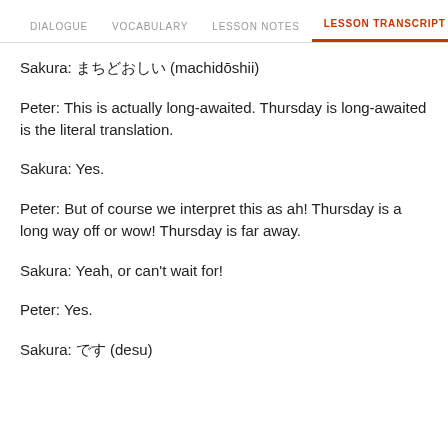DIALOGUE   VOCABULARY   LESSON NOTES   LESSON TRANSCRIPT   K
Sakura: まちどおしい (machidōshii)
Peter: This is actually long-awaited. Thursday is long-awaited is the literal translation.
Sakura: Yes.
Peter: But of course we interpret this as ah! Thursday is a long way off or wow! Thursday is far away.
Sakura: Yeah, or can't wait for!
Peter: Yes.
Sakura: です (desu)